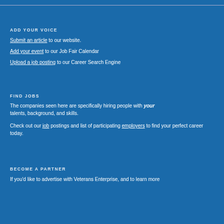ADD YOUR VOICE
Submit an article to our website.
Add your event to our Job Fair Calendar
Upload a job posting to our Career Search Engine
FIND JOBS
The companies seen here are specifically hiring people with your talents, background, and skills.
Check out our job postings and list of participating employers to find your perfect career today.
BECOME A PARTNER
If you'd like to advertise with Veterans Enterprise, and to learn more